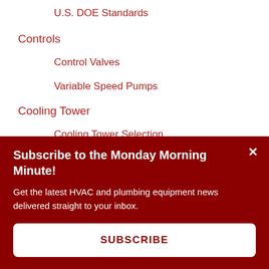U.S. DOE Standards
Controls
Control Valves
Variable Speed Pumps
Cooling Tower
Cooling Tower Selection
Piping
Piping & Pumps
Subscribe to the Monday Morning Minute!
Get the latest HVAC and plumbing equipment news delivered straight to your inbox.
SUBSCRIBE